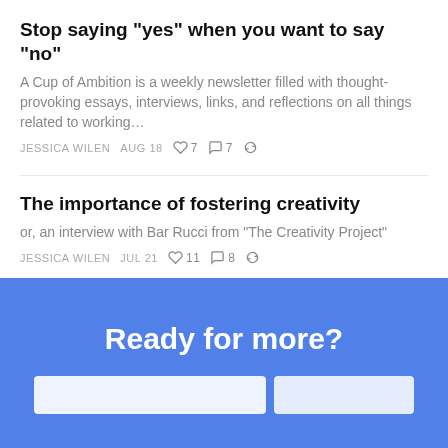Stop saying "yes" when you want to say "no"
A Cup of Ambition is a weekly newsletter filled with thought-provoking essays, interviews, links, and reflections on all things related to working…
JESSICA WILEN   AUG 18   ♡7   💬7   ↗
The importance of fostering creativity
or, an interview with Bar Rucci from "The Creativity Project"
JESSICA WILEN   JUL 21   ♡11   💬8   ↗
See all ›
Ready for more?